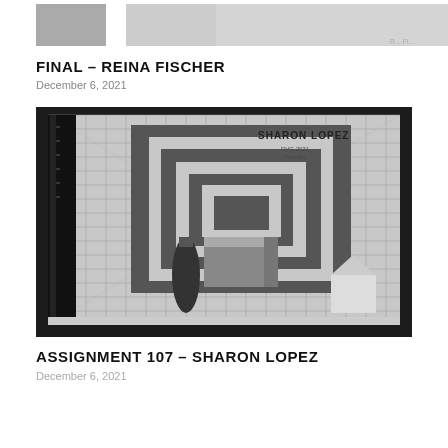FINAL – REINA FISCHER
December 6, 2021
[Figure (photo): Black and white overhead photograph of a cutting mat with a spiral/concentric square geometric pattern made of dark paper, alongside craft tools including a ruler, glue bottle, and small 3D paper models. Text on mat reads 'SHARON LOPEZ DVG 2021 Portfolio'.]
ASSIGNMENT 107 – SHARON LOPEZ
December 6, 2021